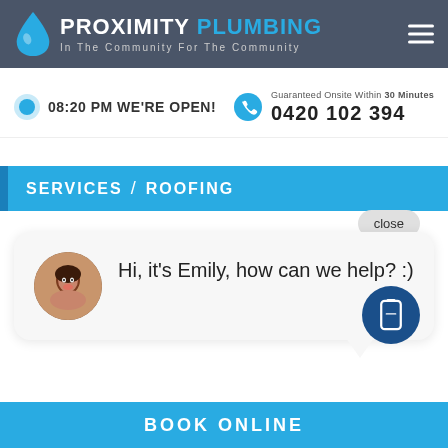[Figure (logo): Proximity Plumbing logo with water drop icon, company name and tagline 'In The Community For The Community']
08:20 PM WE'RE OPEN!
Guaranteed Onsite Within 30 Minutes
0420 102 394
SERVICES / ROOFING
close
Hi, it's Emily, how can we help? :)
BOOK ONLINE